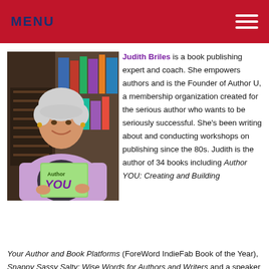MENU
[Figure (photo): Woman with short gray hair wearing a lavender jacket, smiling and holding a book titled 'Author YOU']
Judith Briles is a book publishing expert and coach. She empowers authors and is the Founder of Author U, a membership organization created for the serious author who wants to be seriously successful. She's been writing about and conducting workshops on publishing since the 80s. Judith is the author of 34 books including Author YOU: Creating and Building Your Author and Book Platforms (ForeWord IndieFab Book of the Year), Snappy Sassy Salty: Wise Words for Authors and Writers and a speaker at publishing conferences. Book #34 was
Your Author and Book Platforms (ForeWord IndieFab Book of the Year), Snappy Sassy Salty: Wise Words for Authors and Writers and a speaker at publishing conferences. Book #34 was